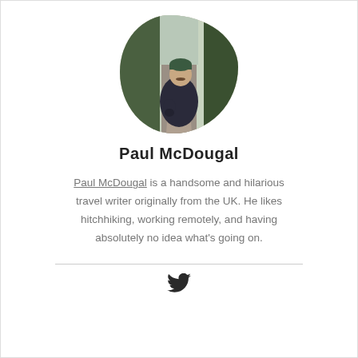[Figure (photo): Profile photo of Paul McDougal standing on a forest path in a dark jacket and green beanie hat, with a blob/rounded square crop shape]
Paul McDougal
Paul McDougal is a handsome and hilarious travel writer originally from the UK. He likes hitchhiking, working remotely, and having absolutely no idea what's going on.
[Figure (logo): Twitter bird logo icon]